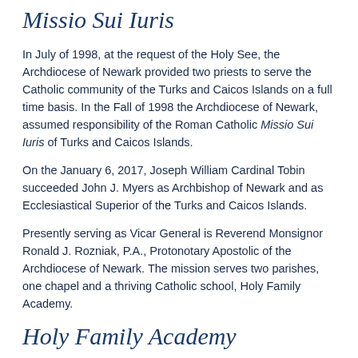Missio Sui Iuris
In July of 1998, at the request of the Holy See, the Archdiocese of Newark provided two priests to serve the Catholic community of the Turks and Caicos Islands on a full time basis. In the Fall of 1998 the Archdiocese of Newark, assumed responsibility of the Roman Catholic Missio Sui Iuris of Turks and Caicos Islands.
On the January 6, 2017, Joseph William Cardinal Tobin succeeded John J. Myers as Archbishop of Newark and as Ecclesiastical Superior of the Turks and Caicos Islands.
Presently serving as Vicar General is Reverend Monsignor Ronald J. Rozniak, P.A., Protonotary Apostolic of the Archdiocese of Newark. The mission serves two parishes, one chapel and a thriving Catholic school, Holy Family Academy.
Holy Family Academy